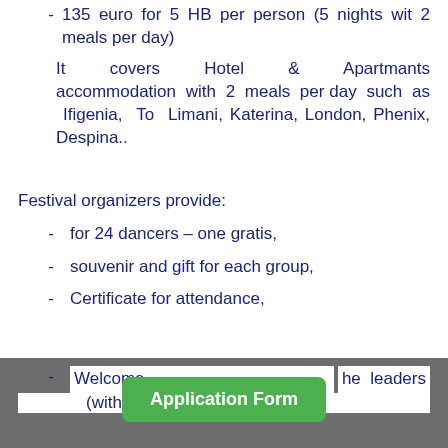- 135 euro for 5 HB per person (5 nights wit 2 meals per day)
It covers Hotel & Apartmants accommodation with 2 meals per day such as Ifigenia, To Limani, Katerina, London, Phenix, Despina..
Festival organizers provide:
- for 24 dancers – one gratis,
- souvenir and gift for each group,
- Certificate for attendance,
- Welcome … the leaders (with drinks)